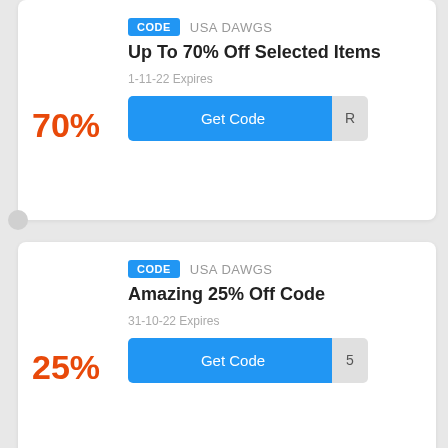70%
CODE  USA DAWGS
Up To 70% Off Selected Items
1-11-22 Expires
Get Code
25%
CODE  USA DAWGS
Amazing 25% Off Code
31-10-22 Expires
Get Code
CODE  USA DAWGS